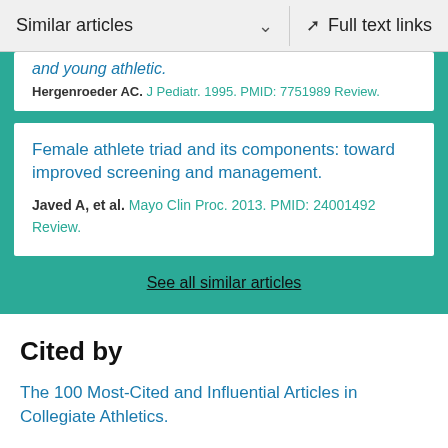Similar articles   ∨   Full text links
and young athletic.
Hergenroeder AC. J Pediatr. 1995. PMID: 7751989 Review.
Female athlete triad and its components: toward improved screening and management.
Javed A, et al. Mayo Clin Proc. 2013. PMID: 24001492 Review.
See all similar articles
Cited by
The 100 Most-Cited and Influential Articles in Collegiate Athletics.